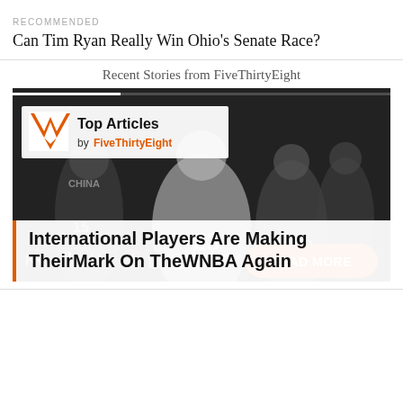RECOMMENDED
Can Tim Ryan Really Win Ohio's Senate Race?
Recent Stories from FiveThirtyEight
[Figure (screenshot): Top Articles card by FiveThirtyEight showing WNBA basketball players image with media controls, a Top Articles badge, and a READ MORE button]
International Players Are Making Their Mark On The WNBA Again